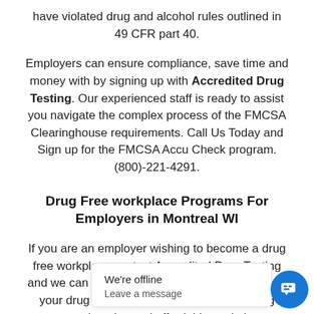have violated drug and alcohol rules outlined in 49 CFR part 40.
Employers can ensure compliance, save time and money with by signing up with Accredited Drug Testing. Our experienced staff is ready to assist you navigate the complex process of the FMCSA Clearinghouse requirements. Call Us Today and Sign up for the FMCSA Accu Check program. (800)-221-4291.
Drug Free workplace Programs For Employers in Montreal WI
If you are an employer wishing to become a drug free workplace contact Accredited Drug Testing and we can assist you with the implementation of your drug free workplace programs including comprehensive and affordable workplace programs for small, medium and large companies.